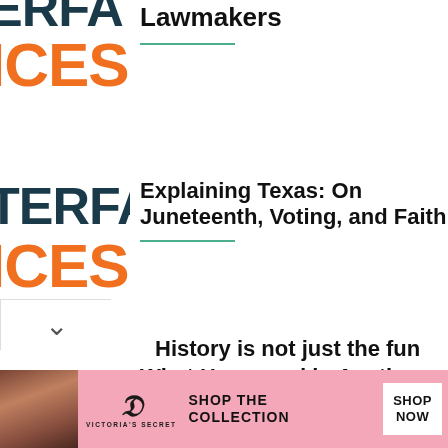[Figure (logo): Partial TERFA/ICES logo — top cut off, showing 'ERFA' in dark teal and 'ICES' in orange]
Lawmakers
[Figure (logo): TERFA in dark teal and ICES in orange logo block]
Explaining Texas: On Juneteenth, Voting, and Faith
[Figure (logo): TERFA in dark teal and ICES in orange logo block]
What Happened in Austin and Why Biden Makes a Bigger Case for Voting Protections.
History is not just the fun
[Figure (advertisement): Victoria's Secret advertisement with pink background, model photo, VS logo, 'SHOP THE COLLECTION' text and 'SHOP NOW' button]